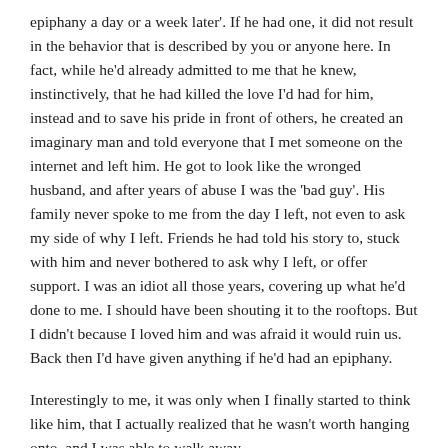epiphany a day or a week later'. If he had one, it did not result in the behavior that is described by you or anyone here. In fact, while he'd already admitted to me that he knew, instinctively, that he had killed the love I'd had for him, instead and to save his pride in front of others, he created an imaginary man and told everyone that I met someone on the internet and left him. He got to look like the wronged husband, and after years of abuse I was the 'bad guy'. His family never spoke to me from the day I left, not even to ask my side of why I left. Friends he had told his story to, stuck with him and never bothered to ask why I left, or offer support. I was an idiot all those years, covering up what he'd done to me. I should have been shouting it to the rooftops. But I didn't because I loved him and was afraid it would ruin us. Back then I'd have given anything if he'd had an epiphany.
Interestingly to me, it was only when I finally started to think like him, that I actually realized that he wasn't worth hanging onto, and I was able to walk away.